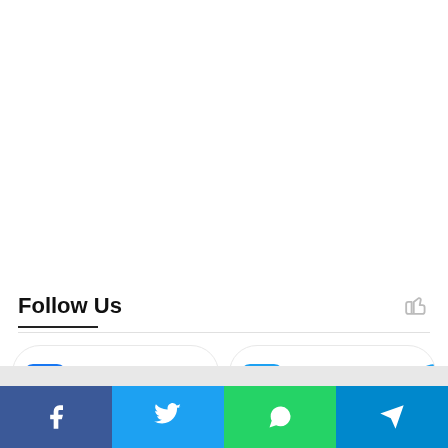Follow Us
7,716 Fans
2340 Followers
[Figure (infographic): Social media share bar with Facebook, Twitter, WhatsApp, and Telegram icons in colored blocks at the bottom of the page]